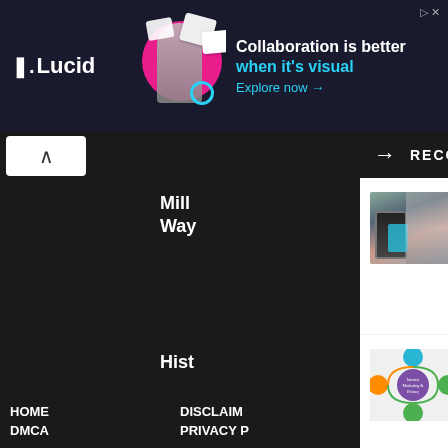[Figure (screenshot): Lucid advertisement banner: dark background with logo, image of woman, and text 'Collaboration is better when it's visual. Explore now →']
Mill... Way...
Hist...
RECOMMENDED
[Figure (photo): Person holding a phone on a city street]
Reasons for Making Mobile Marketing Your Priority
[Figure (infographic): Internet lifecycle diagram with colored circles and arrows]
Effects of Internet in Today's Lifestyles
[Figure (photo): Hand holding smartphone with colorful app icons floating around it]
Everything About Mobile Apps That You Want to Know!
HOME   DISCLAIM...   DMCA   PRIVACY P...